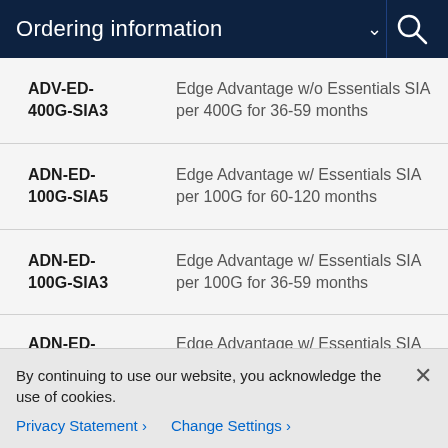Ordering information
| Code | Description |
| --- | --- |
| ADV-ED-400G-SIA3 | Edge Advantage w/o Essentials SIA per 400G for 36-59 months |
| ADN-ED-100G-SIA5 | Edge Advantage w/ Essentials SIA per 100G for 60-120 months |
| ADN-ED-100G-SIA3 | Edge Advantage w/ Essentials SIA per 100G for 36-59 months |
| ADN-ED- | Edge Advantage w/ Essentials SIA |
By continuing to use our website, you acknowledge the use of cookies.
Privacy Statement > Change Settings >